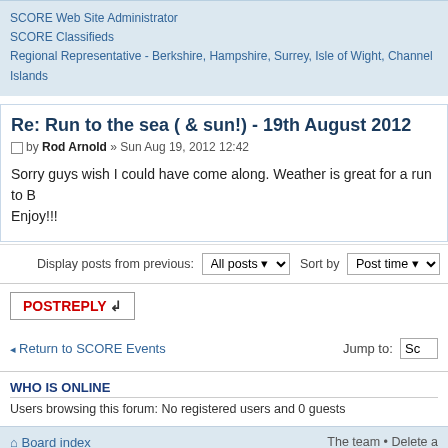SCORE Web Site Administrator
SCORE Classifieds
Regional Representative - Berkshire, Hampshire, Surrey, Isle of Wight, Channel Islands
Re: Run to the sea ( & sun!) - 19th August 2012
by Rod Arnold » Sun Aug 19, 2012 12:42
Sorry guys wish I could have come along. Weather is great for a run to B... Enjoy!!!
Display posts from previous: All posts Sort by Post time
POSTREPLY
Return to SCORE Events
Jump to: Sc
WHO IS ONLINE
Users browsing this forum: No registered users and 0 guests
Board index
The team • Delete a
Powered by phpBB © 2000, 2002, 2005, 2007 phpBB